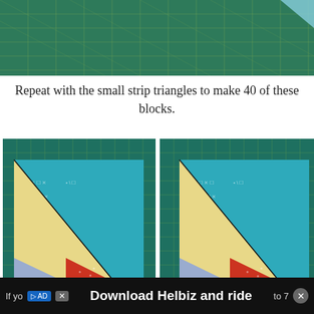[Figure (photo): Top portion of a green cutting mat with ruler grid lines visible, partially cropped]
Repeat with the small strip triangles to make 40 of these blocks.
[Figure (photo): Two quilt blocks shown side by side on a green cutting mat. Each block shows a yellow/cream large triangle on a teal/turquoise patterned fabric background, with a small red and blue pieced section at the bottom corner.]
Your blocks should measure 7 5/8".  Mine were all fairly square so I left them as is and trimmed off the corner bits.
If yo... to 7...
[Figure (screenshot): Advertisement banner: Download Helbiz and ride]